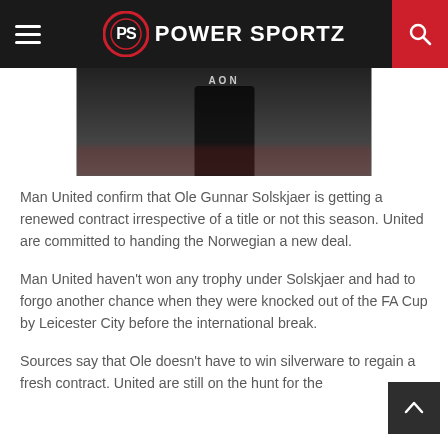PS POWER SPORTZ
[Figure (photo): Dark blurred photo of a person (likely Ole Gunnar Solskjaer) in black attire with AON text visible at top, crowd blurred in background]
Man United confirm that Ole Gunnar Solskjaer is getting a renewed contract irrespective of a title or not this season. United are committed to handing the Norwegian a new deal.
Man United haven't won any trophy under Solskjaer and had to forgo another chance when they were knocked out of the FA Cup by Leicester City before the international break.
Sources say that Ole doesn't have to win silverware to regain a fresh contract. United are still on the hunt for the